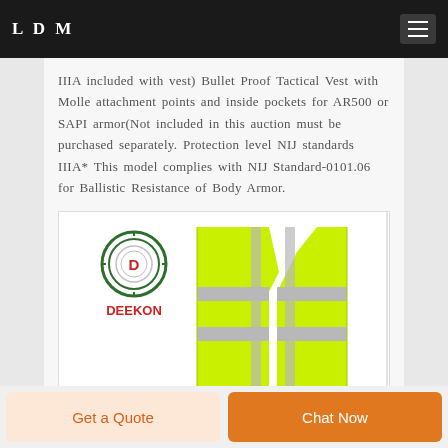LDM
IIIA included with vest) Bullet Proof Tactical Vest with Molle attachment points and inside pockets for AR500 or SAPI armor(Not included in this auction must be purchased separately. Protection level NIJ standards IIIA* This model complies with NIJ Standard-0101.06 for Ballistic Resistance of Body Armor.
[Figure (photo): Product image showing a neon yellow/green high-visibility tactical vest with reflective silver stripes, displayed headless on a white background. The DEEKON brand logo (a letter D inside concentric circles in red and green) and the text DEEKON in red appear in the upper left of the image.]
Get a Quote | Chat Now